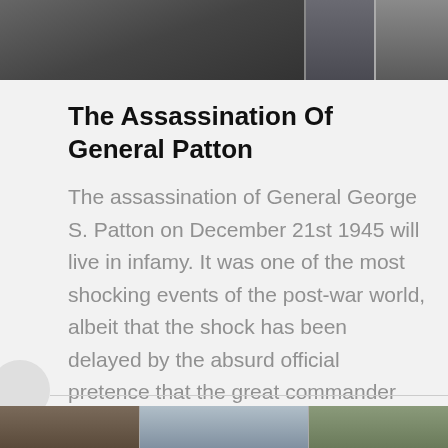[Figure (photo): Black and white historical photo at top showing military figures]
The Assassination Of General Patton
The assassination of General George S. Patton on December 21st 1945 will live in infamy. It was one of the most shocking events of the post-war world, albeit that the shock has been delayed by the absurd official pretence that the great commander died as the...
Conversation
[Figure (photo): Partial photo strip at bottom showing various images]